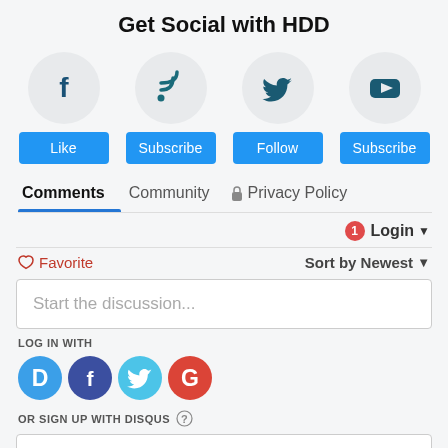Get Social with HDD
[Figure (infographic): Four social media icons in circles (Facebook, RSS, Twitter, YouTube) each with a blue button below (Like, Subscribe, Follow, Subscribe)]
Comments   Community   Privacy Policy
1  Login
Favorite   Sort by Newest
Start the discussion...
LOG IN WITH
[Figure (infographic): Four social login icons: Disqus (blue speech bubble with D), Facebook (dark blue circle with f), Twitter (light blue circle with bird), Google (red circle with G)]
OR SIGN UP WITH DISQUS (?)
Name